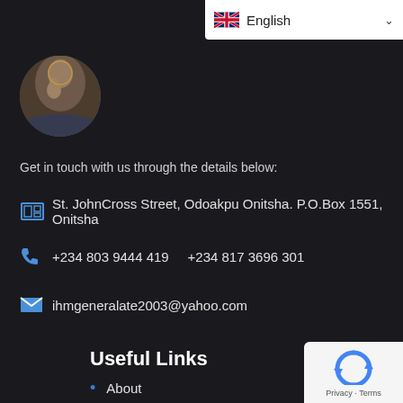[Figure (screenshot): Language selector dropdown showing UK flag and 'English' text with chevron, on white background, top-right corner]
[Figure (photo): Circular logo image showing religious figures (mother and child), dark tones]
Get in touch with us through the details below:
St. JohnCross Street, Odoakpu Onitsha. P.O.Box 1551, Onitsha
+234 803 9444 419    +234 817 3696 301
ihmgeneralate2003@yahoo.com
Useful Links
About
FAQ
[Figure (logo): Google reCAPTCHA badge with circular arrows icon and 'Privacy - Terms' text]